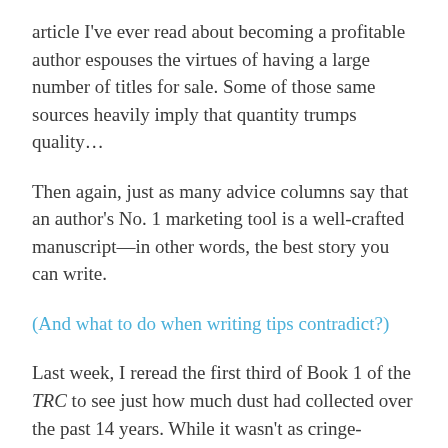article I've ever read about becoming a profitable author espouses the virtues of having a large number of titles for sale. Some of those same sources heavily imply that quantity trumps quality…
Then again, just as many advice columns say that an author's No. 1 marketing tool is a well-crafted manuscript—in other words, the best story you can write.
(And what to do when writing tips contradict?)
Last week, I reread the first third of Book 1 of the TRC to see just how much dust had collected over the past 14 years. While it wasn't as cringe-inducing as a feared it would be, one thing was clear: that book, along with the other two, would need